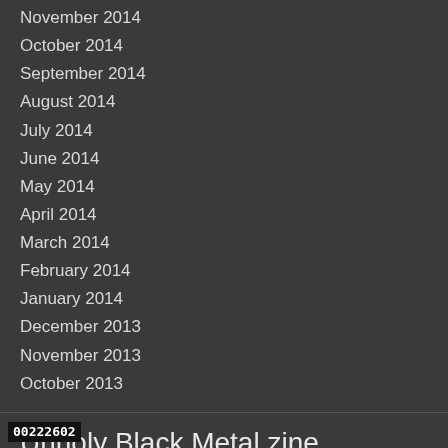November 2014
October 2014
September 2014
August 2014
July 2014
June 2014
May 2014
April 2014
March 2014
February 2014
January 2014
December 2013
November 2013
October 2013
Unholy Black Metal zine
Version:  Mobile  |  Web
00222602